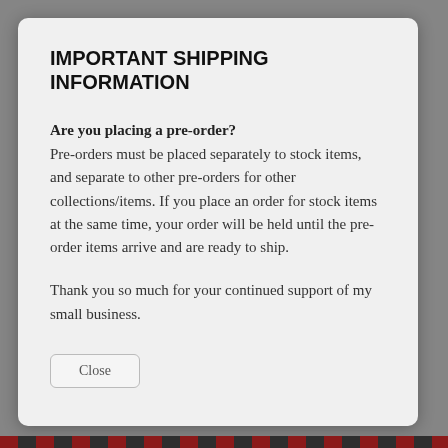IMPORTANT SHIPPING INFORMATION
Are you placing a pre-order?
Pre-orders must be placed separately to stock items, and separate to other pre-orders for other collections/items. If you place an order for stock items at the same time, your order will be held until the pre-order items arrive and are ready to ship.
Thank you so much for your continued support of my small business.
Close